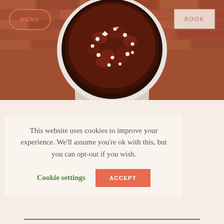[Figure (photo): Person holding a round baking dish with a dark fruit tart topped with small white flowers, standing in front of a brick wall. Navigation buttons MENU and BOOK visible.]
This website uses cookies to improve your experience. We'll assume you're ok with this, but you can opt-out if you wish.
Cookie settings   ACCEPT
d by the Paige use Villa for the